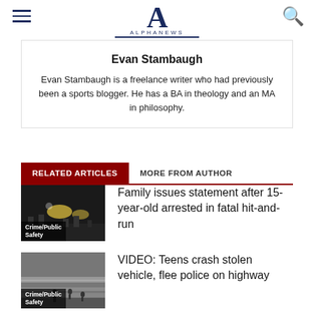ALPHANEWS
Evan Stambaugh
Evan Stambaugh is a freelance writer who had previously been a sports blogger. He has a BA in theology and an MA in philosophy.
RELATED ARTICLES | MORE FROM AUTHOR
[Figure (photo): Night scene thumbnail with lights, labeled Crime/Public Safety]
Family issues statement after 15-year-old arrested in fatal hit-and-run
[Figure (photo): Highway scene thumbnail, labeled Crime/Public Safety]
VIDEO: Teens crash stolen vehicle, flee police on highway